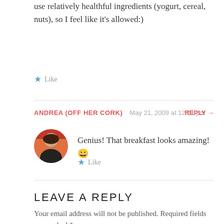use relatively healthful ingredients (yogurt, cereal, nuts), so I feel like it's allowed:)
★ Like
ANDREA (OFF HER CORK)  May 21, 2009 at 12:01 pm  REPLY →
[Figure (photo): Circular avatar photo of a woman with dark hair against an orange/red background]
Genius! That breakfast looks amazing! 😀
★ Like
LEAVE A REPLY
Your email address will not be published. Required fields are marked *